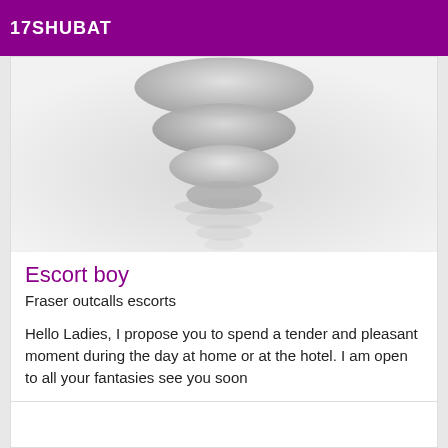17SHUBAT
[Figure (photo): Stacked balancing zen stones (pebbles) arranged in a tower, with reflection below, on a light gray background]
Escort boy
Fraser outcalls escorts
Hello Ladies, I propose you to spend a tender and pleasant moment during the day at home or at the hotel. I am open to all your fantasies see you soon